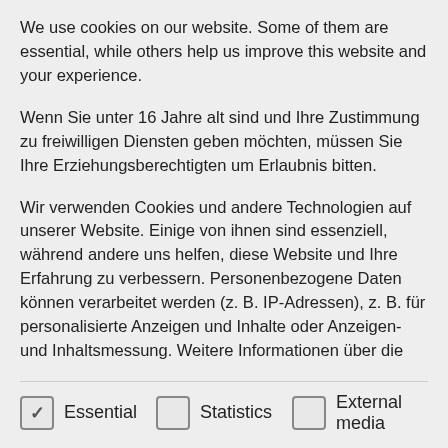We use cookies on our website. Some of them are essential, while others help us improve this website and your experience.
Wenn Sie unter 16 Jahre alt sind und Ihre Zustimmung zu freiwilligen Diensten geben möchten, müssen Sie Ihre Erziehungsberechtigten um Erlaubnis bitten.
Wir verwenden Cookies und andere Technologien auf unserer Website. Einige von ihnen sind essenziell, während andere uns helfen, diese Website und Ihre Erfahrung zu verbessern. Personenbezogene Daten können verarbeitet werden (z. B. IP-Adressen), z. B. für personalisierte Anzeigen und Inhalte oder Anzeigen- und Inhaltsmessung. Weitere Informationen über die
Essential
Statistics
External media
ENGLISH